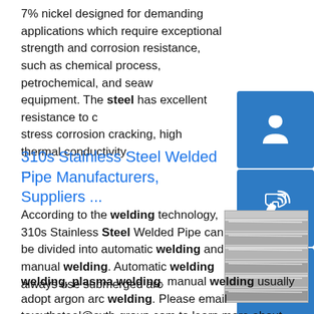7% nickel designed for demanding applications which require exceptional strength and corrosion resistance, such as chemical process, petrochemical, and seawater equipment. The steel has excellent resistance to oxidation, stress corrosion cracking, high thermal conductivity ...
[Figure (illustration): Blue contact/support icon with headset and person silhouette]
[Figure (illustration): Blue phone/call icon with wifi signal waves]
[Figure (illustration): Blue Skype icon with 'S' logo]
310s Stainless Steel Welded Pipe Manufacturers, Suppliers ...
According to the welding technology, 310s Stainless Steel Welded Pipe can be divided into automatic welding and manual welding. Automatic welding always use submerged arc welding, plasma welding, manual welding usually adopt argon arc welding. Please email to:sxthsteel@sxth-group.com to learn more about 310s Stainless steel
[Figure (photo): Grayscale photograph of stacked stainless steel plates/sheets]